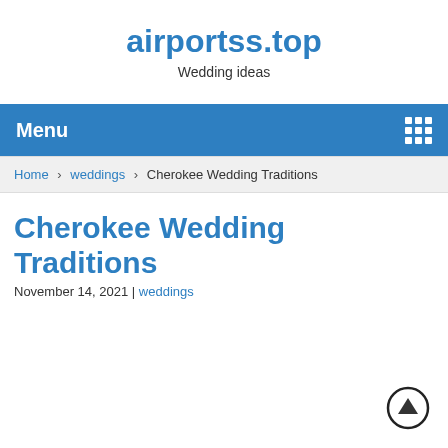airportss.top
Wedding ideas
Menu
Home > weddings > Cherokee Wedding Traditions
Cherokee Wedding Traditions
November 14, 2021 | weddings